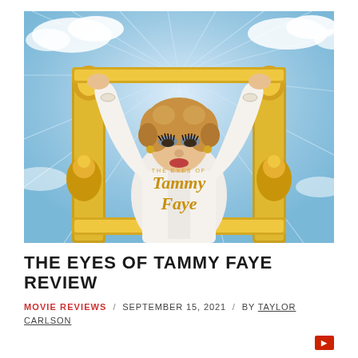[Figure (photo): Movie poster for 'The Eyes of Tammy Faye' showing a woman in white jacket with arms raised against a blue sky background, framed by ornate gold decorative elements, with the film title in gold script lettering.]
THE EYES OF TAMMY FAYE REVIEW
MOVIE REVIEWS / SEPTEMBER 15, 2021 / BY TAYLOR CARLSON